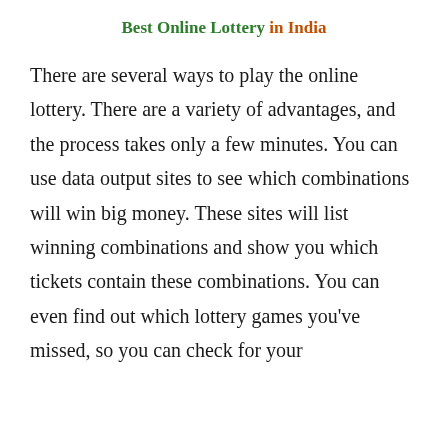Best Online Lottery in India
There are several ways to play the online lottery. There are a variety of advantages, and the process takes only a few minutes. You can use data output sites to see which combinations will win big money. These sites will list winning combinations and show you which tickets contain these combinations. You can even find out which lottery games you’ve missed, so you can check for your